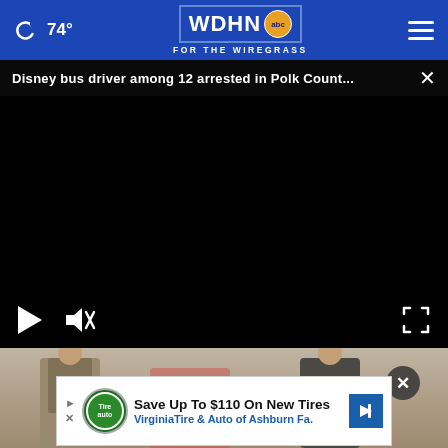74° WDHN abc FOR THE WIREGRASS
Disney bus driver among 12 arrested in Polk Count...
[Figure (screenshot): Video player showing black screen with play button, mute button, and fullscreen icon controls]
[Figure (photo): Photo of people in suits shaking hands]
Save Up To $110 On New Tires  VirginiaTire & Auto of Ashburn Fa.